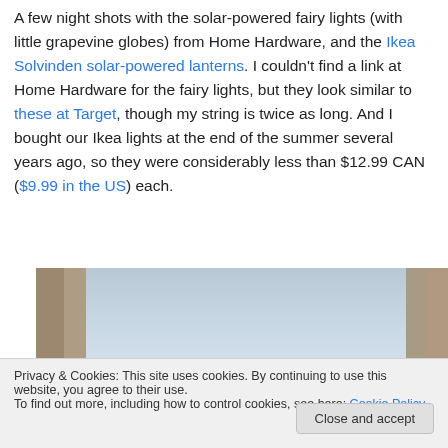A few night shots with the solar-powered fairy lights (with little grapevine globes) from Home Hardware, and the Ikea Solvinden solar-powered lanterns. I couldn't find a link at Home Hardware for the fairy lights, but they look similar to these at Target, though my string is twice as long. And I bought our Ikea lights at the end of the summer several years ago, so they were considerably less than $12.99 CAN ($9.99 in the US) each.
[Figure (photo): Night/daytime photo showing a wooden frame structure with sky visible through the openings]
Privacy & Cookies: This site uses cookies. By continuing to use this website, you agree to their use. To find out more, including how to control cookies, see here: Cookie Policy
Close and accept